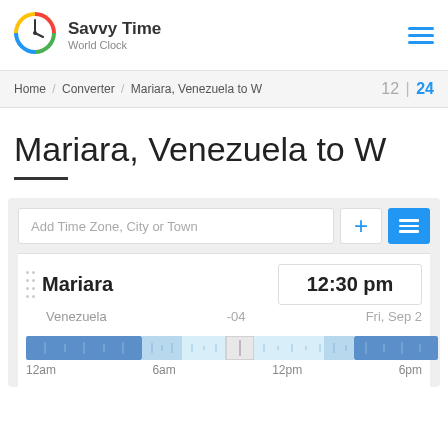[Figure (logo): Savvy Time World Clock logo with colorful clock icon]
Savvy Time World Clock
Home / Converter / Mariara, Venezuela to W  12 | 24
Mariara, Venezuela to W
Add Time Zone, City or Town
| City | Time | Zone | Date |
| --- | --- | --- | --- |
| Mariara | 12:30 pm | -04 | Fri, Sep 2 |
[Figure (infographic): 24-hour timeline bar showing day/night segments with 12am, 6am, 12pm, 6pm labels and selector at 12:30pm]